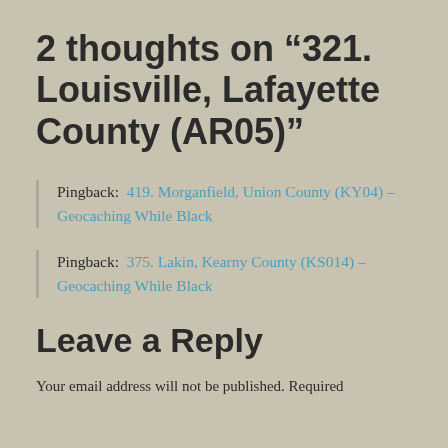2 thoughts on “321. Louisville, Lafayette County (AR05)”
Pingback:  419. Morganfield, Union County (KY04) – Geocaching While Black
Pingback:  375. Lakin, Kearny County (KS014) – Geocaching While Black
Leave a Reply
Your email address will not be published. Required